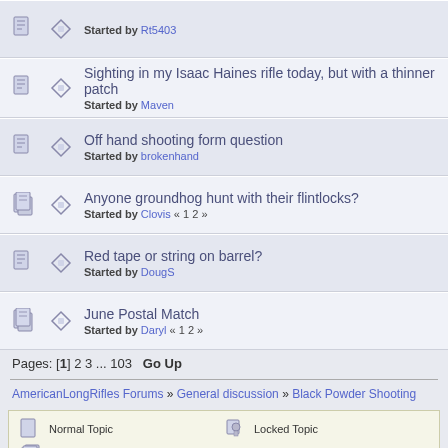Started by Rt5403
Sighting in my Isaac Haines rifle today, but with a thinner patch — Started by Maven
Off hand shooting form question — Started by brokenhand
Anyone groundhog hunt with their flintlocks? — Started by Clovis « 1 2 »
Red tape or string on barrel? — Started by DougS
June Postal Match — Started by Daryl « 1 2 »
Pages: [1] 2 3 ... 103   Go Up
AmericanLongRifles Forums » General discussion » Black Powder Shooting
Normal Topic | Hot Topic (More than 15 replies) | Very Hot Topic (More than 25 replies) | Locked Topic | Sticky Topic